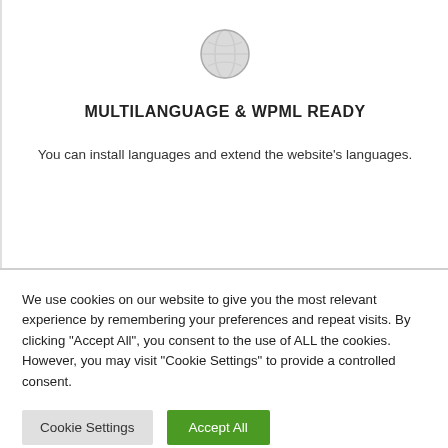[Figure (illustration): Gray globe/world icon centered at top of the card section]
MULTILANGUAGE & WPML READY
You can install languages and extend the website's languages.
We use cookies on our website to give you the most relevant experience by remembering your preferences and repeat visits. By clicking "Accept All", you consent to the use of ALL the cookies. However, you may visit "Cookie Settings" to provide a controlled consent.